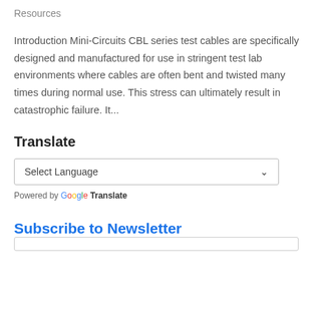Resources
Introduction Mini-Circuits CBL series test cables are specifically designed and manufactured for use in stringent test lab environments where cables are often bent and twisted many times during normal use. This stress can ultimately result in catastrophic failure. It...
Translate
Select Language
Powered by Google Translate
Subscribe to Newsletter